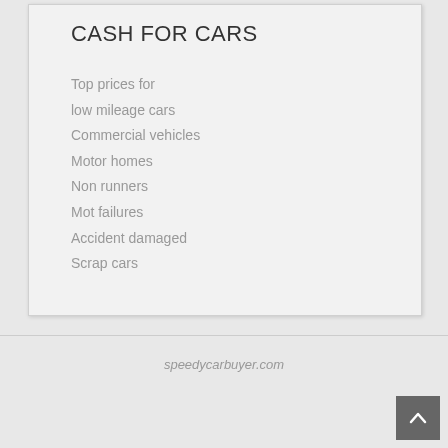CASH FOR CARS
Top prices for
low mileage cars
Commercial vehicles
Motor homes
Non runners
Mot failures
Accident damaged
Scrap cars
speedycarbuyer.com